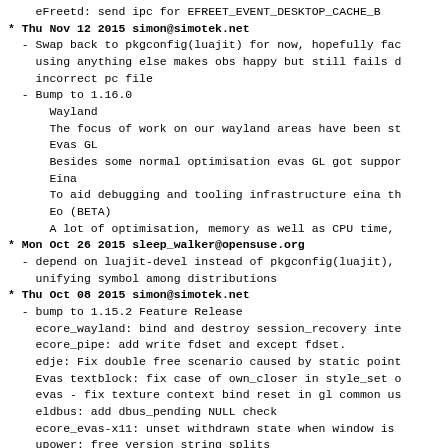eFreetd: send ipc for EFREET_EVENT_DESKTOP_CACHE_B
Thu Nov 12 2015 simon@simotek.net
  - Swap back to pkgconfig(luajit) for now, hopefully fac
    using anything else makes obs happy but still fails d
    incorrect pc file
  - Bump to 1.16.0
      Wayland
      The focus of work on our wayland areas have been st
      Evas GL
      Besides some normal optimisation evas GL got suppor
      Eina
      To aid debugging and tooling infrastructure eina th
      Eo (BETA)
      A lot of optimisation, memory as well as CPU time,
Mon Oct 26 2015 sleep_walker@opensuse.org
  - depend on luajit-devel instead of pkgconfig(luajit),
    unifying symbol among distributions
Thu Oct 08 2015 simon@simotek.net
  - bump to 1.15.2 Feature Release
    ecore_wayland: bind and destroy session_recovery inte
    ecore_pipe: add write fdset and except fdset.
    edje: Fix double free scenario caused by static point
    Evas textblock: fix case of own_closer in style_set o
    evas - fix texture context bind reset in gl common us
    eldbus: add dbus_pending NULL check
    ecore_evas-x11: unset withdrawn state when window is
    upower: free version string splits
    ecore_win32: fix the mouse out behavior.
    ecore-audio: defer deletion of pulseaudio timer until
    doc/eldbus: fix parameter in document